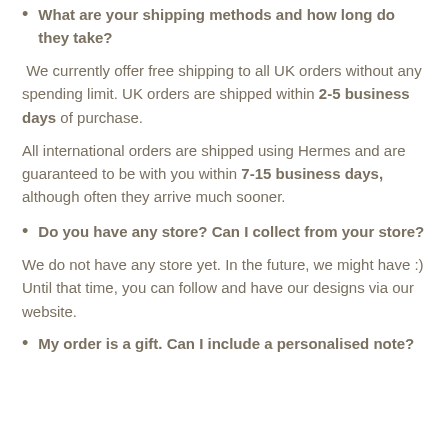What are your shipping methods and how long do they take?
We currently offer free shipping to all UK orders without any spending limit. UK orders are shipped within 2-5 business days of purchase.
All international orders are shipped using Hermes and are guaranteed to be with you within 7-15 business days, although often they arrive much sooner.
Do you have any store? Can I collect from your store?
We do not have any store yet. In the future, we might have :) Until that time, you can follow and have our designs via our website.
My order is a gift. Can I include a personalised note?